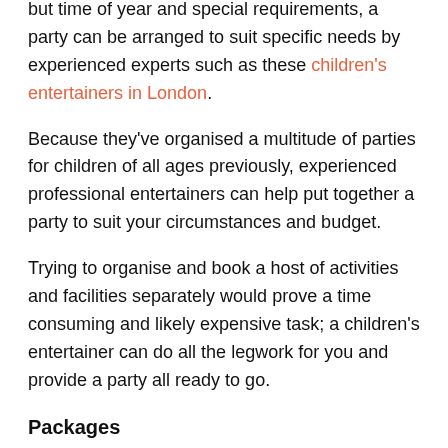but time of year and special requirements, a party can be arranged to suit specific needs by experienced experts such as these children's entertainers in London.
Because they've organised a multitude of parties for children of all ages previously, experienced professional entertainers can help put together a party to suit your circumstances and budget.
Trying to organise and book a host of activities and facilities separately would prove a time consuming and likely expensive task; a children's entertainer can do all the legwork for you and provide a party all ready to go.
Packages
Ideally the entertainer will offer a selection of party packages so you can choose a 'bundle' of activities and